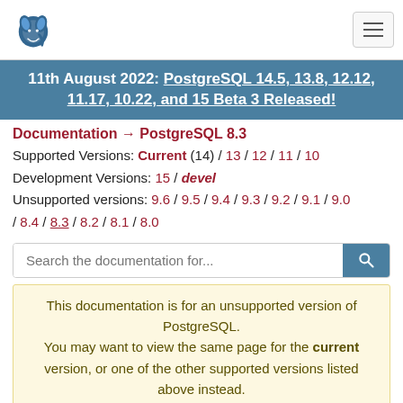PostgreSQL logo and navigation bar
11th August 2022: PostgreSQL 14.5, 13.8, 12.12, 11.17, 10.22, and 15 Beta 3 Released!
Documentation → PostgreSQL 8.3
Supported Versions: Current (14) / 13 / 12 / 11 / 10
Development Versions: 15 / devel
Unsupported versions: 9.6 / 9.5 / 9.4 / 9.3 / 9.2 / 9.1 / 9.0 / 8.4 / 8.3 / 8.2 / 8.1 / 8.0
This documentation is for an unsupported version of PostgreSQL. You may want to view the same page for the current version, or one of the other supported versions listed above instead.
PostgreSQL 8.3.23 Documentation
Prev  Fast Backward   Fast Forward  Next